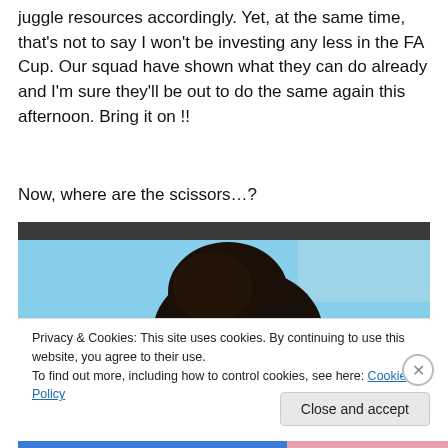juggle resources accordingly. Yet, at the same time, that's not to say I won't be investing any less in the FA Cup. Our squad have shown what they can do already and I'm sure they'll be out to do the same again this afternoon. Bring it on !!
Now, where are the scissors…?
[Figure (photo): Close-up photo of a dark-colored bird or animal on a vehicle, blue sky in background]
Privacy & Cookies: This site uses cookies. By continuing to use this website, you agree to their use.
To find out more, including how to control cookies, see here: Cookie Policy
Close and accept